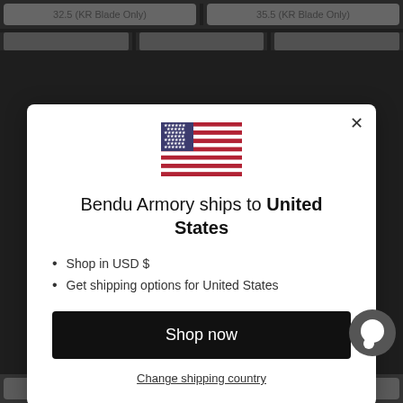32.5 (KR Blade Only)
35.5 (KR Blade Only)
[Figure (screenshot): US flag emoji]
Bendu Armory ships to United States
Shop in USD $
Get shipping options for United States
Shop now
Change shipping country
3 + ¥7,236
4 + ¥9,602
5 + ¥11,967